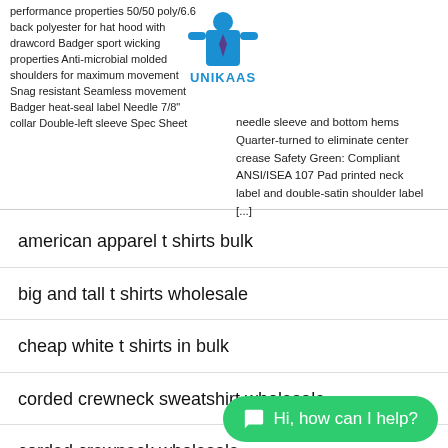performance properties 50/50 poly/6.6 back polyester for hat hood with drawcord Badger sport wicking properties Anti-microbial molded shoulders for maximum movement Snag resistant Seamless movement Badger heat-seal label Needle 7/8" collar Double-left sleeve Spec Sheet
[Figure (logo): UNIKAAS logo with a blue figure wearing a tie, and bold blue/dark blue lettering]
needle sleeve and bottom hems Quarter-turned to eliminate center crease Safety Green: Compliant ANSI/ISEA 107 Pad printed neck label and double-satin shoulder label [...]
american apparel t shirts bulk
big and tall t shirts wholesale
cheap white t shirts in bulk
corded crewneck sweatshirt wholesale
corded crewneck wholesale